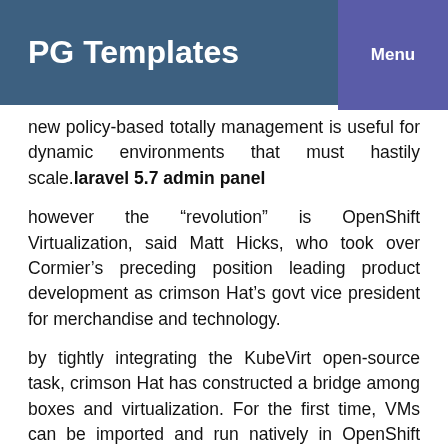PG Templates
new policy-based totally management is useful for dynamic environments that must hastily scale. laravel 5.7 admin panel
however the “revolution” is OpenShift Virtualization, said Matt Hicks, who took over Cormier’s preceding position leading product development as crimson Hat’s govt vice president for merchandise and technology.
by tightly integrating the KubeVirt open-source task, crimson Hat has constructed a bridge among boxes and virtualization. For the first time, VMs can be imported and run natively in OpenShift facet-by way of-aspect with Kubernetes clusters, Hicks said.
“Bringing virtualization forward into the infrastructure basis of the future” reduces licensing fees whilst allowing new use cases for customers that need to